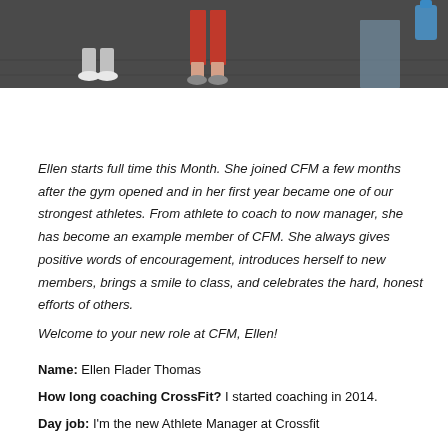[Figure (photo): Photo showing legs and feet of people walking on a dark gym floor, one person in white sneakers and another in red pants/capris]
Ellen starts full time this Month. She joined CFM a few months after the gym opened and in her first year became one of our strongest athletes. From athlete to coach to now manager, she has become an example member of CFM. She always gives positive words of encouragement, introduces herself to new members, brings a smile to class, and celebrates the hard, honest efforts of others.
Welcome to your new role at CFM, Ellen!
Name: Ellen Flader Thomas
How long coaching CrossFit? I started coaching in 2014.
Day job: I'm the new Athlete Manager at Crossfit